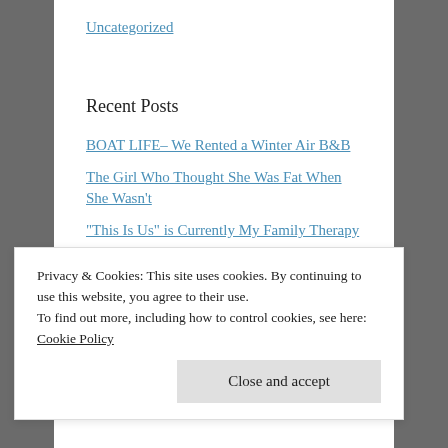Uncategorized
Recent Posts
BOAT LIFE– We Rented a Winter Air B&B
The Girl Who Thought She Was Fat When She Wasn't
“This Is Us” is Currently My Family Therapy
A Poem for Ukraine, Fear and Family History
Ruby Bridges Tells Me Her Story
Privacy & Cookies: This site uses cookies. By continuing to use this website, you agree to their use.
To find out more, including how to control cookies, see here: Cookie Policy
Close and accept